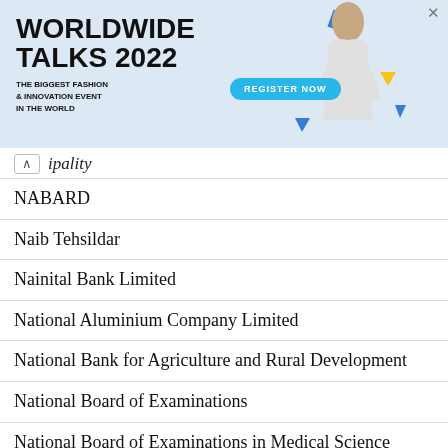[Figure (other): Advertisement banner for Worldwide Talks 2022 - The Biggest Fashion & Innovation Event in the World, with Register Now button]
ipality
NABARD
Naib Tehsildar
Nainital Bank Limited
National Aluminium Company Limited
National Bank for Agriculture and Rural Development
National Board of Examinations
National Board of Examinations in Medical Science
National Commission for Women
National Health Mission
National Housing Bank
National Institution for Transforming India